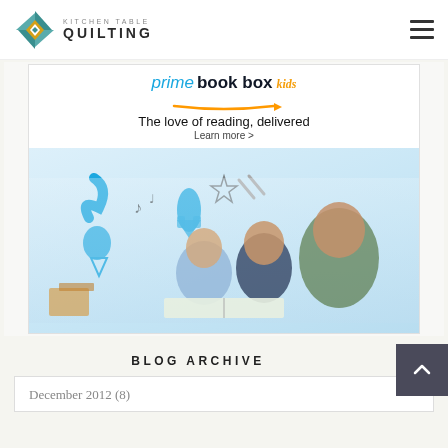[Figure (logo): Kitchen Table Quilting logo with quilt block diamond icon in teal, white, and gold, and text 'KITCHEN TABLE QUILTING']
[Figure (screenshot): Amazon Prime Book Box Kids advertisement. Shows 'prime book box kids' branding with Amazon smile arrow, tagline 'The love of reading, delivered', 'Learn more >' link, and photo of a woman and two children reading a book together on the floor.]
BLOG ARCHIVE
December 2012 (8)